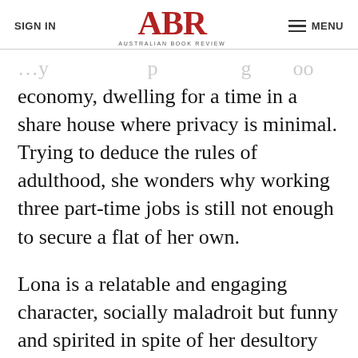SIGN IN | ABR AUSTRALIAN BOOK REVIEW | MENU
economy, dwelling for a time in a share house where privacy is minimal. Trying to deduce the rules of adulthood, she wonders why working three part-time jobs is still not enough to secure a flat of her own.
Lona is a relatable and engaging character, socially maladroit but funny and spirited in spite of her desultory ways. It’s not surprising that she’s a fan of Daria, the 1990s animated character whose deadpan delivery and cynical outlook made her the poster girl for outcasts everywhere. Lona